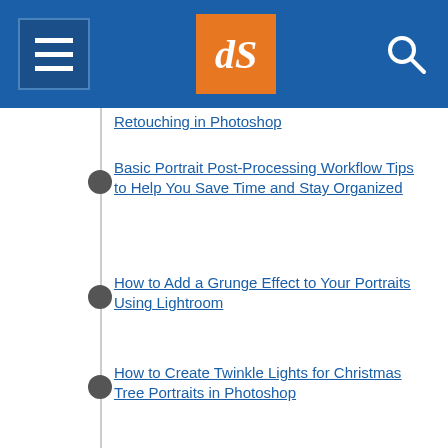dPS - digital photography school navigation header
Retouching in Photoshop
Basic Portrait Post-Processing Workflow Tips to Help You Save Time and Stay Organized
How to Add a Grunge Effect to Your Portraits Using Lightroom
How to Create Twinkle Lights for Christmas Tree Portraits in Photoshop
How to Enhance Portraits Using Gray Layers to Dodge and Burn in Photoshop
How to Blur the Background of a Portrait Using the Magnetic Lasso Tool in Photoshop